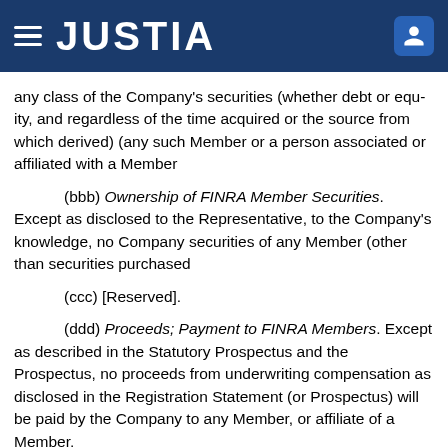JUSTIA
any class of the Company's securities (whether debt or equity, and regardless of the time acquired or the source from which derived) (any such ownership interest of a Member or a person associated or affiliated with a Member
(bbb) Ownership of FINRA Member Securities. Except as disclosed to the Representative, to the Company's knowledge, no Company securities of any Member (other than securities purchased
(ccc) [Reserved].
(ddd) Proceeds; Payment to FINRA Members. Except as described in the Statutory Prospectus and the Prospectus, no proceeds from underwriting compensation as disclosed in the Registration Statement (or Prospectus) will be paid by the Company to any Member, or affiliate of a Member.
(eee) Issuance of Securities to Underwriter. The Company has not sold, issued or granted any options, directly or indirectly to anyone wh